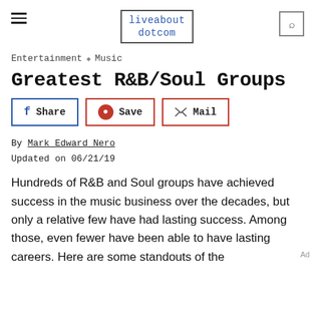liveabout dotcom
Entertainment ◇ Music
Greatest R&B/Soul Groups
Share | Save | Mail
By Mark Edward Nero
Updated on 06/21/19
Hundreds of R&B and Soul groups have achieved success in the music business over the decades, but only a relative few have had lasting success. Among those, even fewer have been able to have lasting careers. Here are some standouts of the